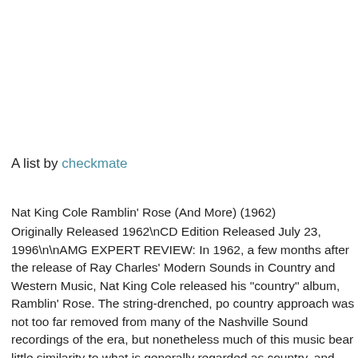A list by checkmate
Nat King Cole Ramblin' Rose (And More) (1962)
Originally Released 1962\nCD Edition Released July 23, 1996\n\nAMG EXPERT REVIEW: In 1962, a few months after the release of Ray Charles' Modern Sounds in Country and Western Music, Nat King Cole released his "country" album, Ramblin' Rose. The string-drenched, pop-country approach was not too far removed from many of the Nashville Sound recordings of the era, but nonetheless much of this music bears little similarity to what is generally regarded as country, and most of the material is foreign to country repertory. Cole's version of the Claude King hit "Wolverton Mountain" is the most country-sounding cut, while "Your Cheatin' Heart" is so far removed from Hank Williams that it's unintentionally funny. "Ramblin' Rose" became a popular song to cover for a while, and many of the other tracks, such as "Sing Another Song (And We'll Go Home)" and a surprisingly successful version of "Skip to My Lou," will please fans of Cole's 1960s pop-crooner phase. Focusing